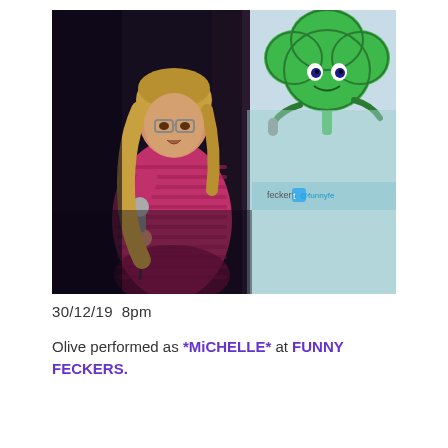[Figure (photo): A woman with blonde hair and glasses holding a microphone on a dark stage, wearing a pink striped dress. Behind her is a banner with a green shamrock cartoon character holding a microphone, with text 'feckers' and '@funnyfe' visible.]
30/12/19  8pm
Olive performed as *MiCHELLE* at FUNNY FECKERS.